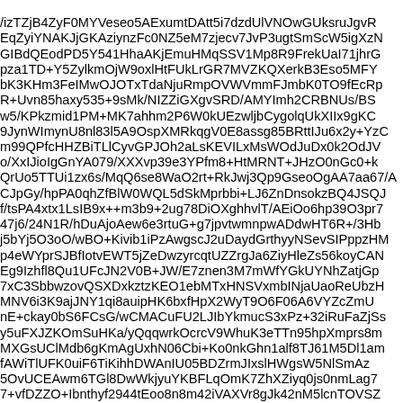/izTZjB4ZyF0MYVeseo5AExumtDAtt5i7dzdUlVNOwGUksruJgvR EqZyiYNAKJjGKAziynzFc0NZ5eM7zjecv7JvP3ugtSmScW5igXzM GIBdQEodPD5Y541HhaAKjEmuHMqSSV1Mp8R9FrekUaI71jhrG pza1TD+Y5ZylkmOjW9oxlHtFUkLrGR7MVZKQXerkB3Eso5MFY bK3KHm3FeIMwOJOTxTdaNjuRmpOVWVmmFJmbK0TO9fEcRp R+Uvn85haxy535+9sMk/NIZZiGXgvSRD/AMYImh2CRBNUs/BS w5/KPkzmid1PM+MK7ahhm2P6W0kUEzwljbCygolqUkXIIx9gKC 9JynWImynU8nl83l5A9OspXMRkqgV0E8assg85BRttIJu6x2y+YzC m99QPfcHHZBiTLlCyvGPJOh2aLsKEVILxMsWOdJuDx0k2OdJV o/XxIJioIgGnYA079/XXXvp39e3YPfm8+HtMRNT+JHzO0nGc0+k QrUo5TTUi1zx6s/MqQ6se8WaO2rt+RkJwj3Qp9GseoOgAA7aa67/A CJpGy/hpPA0qhZfBlW0WQL5dSkMprbbi+LJ6ZnDnsokzBQ4JSQJ f/tsPA4xtx1LsIB9x++m3b9+2ug78DiOXghhvlT/AEiOo6hp39O3pr7 47j6/24N1R/hDuAjoAew6e3rtuG+g7jpvtwmnpwADdwHT6R+/3Hb j5bYj5O3oO/wBO+Kivib1iPzAwgscJ2uDaydGrthyyNSevSIPppzHM p4eWYprSJBfIotvEWT5jZeDwzyrcqtUZZrgJa6ZiyHleZs56koyCAN Eg9Izhfl8Qu1UFcJN2V0B+JW/E7znen3M7mWfYGkUYNhZatjGp 7xC3SbbwzovQSXDxkztzKEO1ebMTxHNSVxmbINjaUaoReUbzH MNV6i3K9ajJNY1qi8auipHK6bxfHpX2WyT9O6F06A6VYZcZmU nE+ckay0bS6FCsG/wCMACuFU2LJIbYkmucS3xPz+32iRuFaZjSs y5uFXJZKOmSuHKa/yQqqwrkOcrcV9WhuK3eTTn95hpXmprs8m MXGsUClMdb6gKmAgUxhN06Cbi+Ko0nkGhn1alf8TJ61M5Dl1am fAWiTlUFK0uiF6TiKihhDWAnIU05BDZrmJIxslHWgsW5NlSmAz 5OvUCEAwm6TGl8DwWkjyuYKBFLqOmK7ZhXZiyq0js0nmLag7 7+vfDZZO+Ibnthyf2944tEoo8n8m42iVAXVr8gJk42nM5lcnTOVSZ